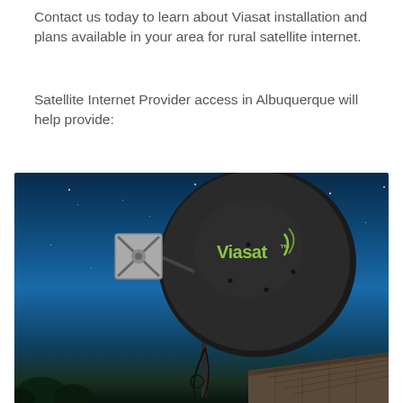Contact us today to learn about Viasat installation and plans available in your area for rural satellite internet.
Satellite Internet Provider access in Albuquerque will help provide:
[Figure (photo): Photo of a Viasat satellite dish mounted on a rooftop against a night sky filled with stars. The dark dish has the Viasat logo in green text. A smaller LNB/transceiver unit with an X pattern is mounted to the left of the dish arm.]